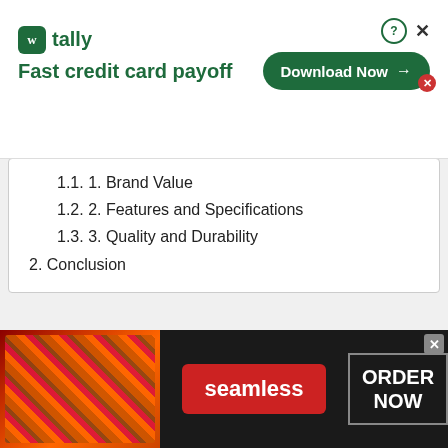[Figure (screenshot): Tally app advertisement banner: green logo with 'tally' text, tagline 'Fast credit card payoff', green 'Download Now →' button, with help (?) and close (×) icons]
1.1. 1. Brand Value
1.2. 2. Features and Specifications
1.3. 3. Quality and Durability
2. Conclusion
How to Choose the Right s530 bluetooth v4.1: A Step-by-Step Guide
Shopping for a s530 bluetooth v4.1 can
[Figure (screenshot): Seamless food delivery advertisement banner: dark background with pizza image on left, red 'seamless' button in center, grey-bordered 'ORDER NOW' button on right, with close (×) button]